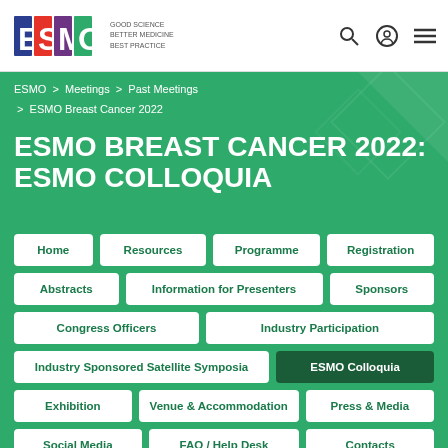[Figure (logo): ESMO logo with colored letters E S M O and tagline: GOOD SCIENCE, BETTER MEDICINE, BEST PRACTICE]
ESMO > Meetings > Past Meetings > ESMO Breast Cancer 2022
ESMO BREAST CANCER 2022: ESMO COLLOQUIA
Home
Resources
Programme
Registration
Abstracts
Information for Presenters
Sponsors
Congress Officers
Industry Participation
Industry Sponsored Satellite Symposia
ESMO Colloquia
Exhibition
Venue & Accommodation
Press & Media
Social Media
FAQ / Help Desk
Contacts